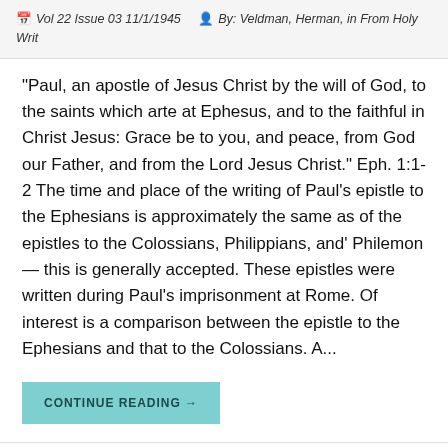Vol 22 Issue 03 11/1/1945   By: Veldman, Herman, in From Holy Writ
“Paul, an apostle of Jesus Christ by the will of God, to the saints which arte at Ephesus, and to the faithful in Christ Jesus: Grace be to you, and peace, from God our Father, and from the Lord Jesus Christ.” Eph. 1:1-2 The time and place of the writing of Paul’s epistle to the Ephesians is approximately the same as of the epistles to the Colossians, Philippians, and’ Philemon— this is generally accepted. These epistles were written during Paul’s imprisonment at Rome. Of interest is a comparison between the epistle to the Ephesians and that to the Colossians. A...
CONTINUE READING →